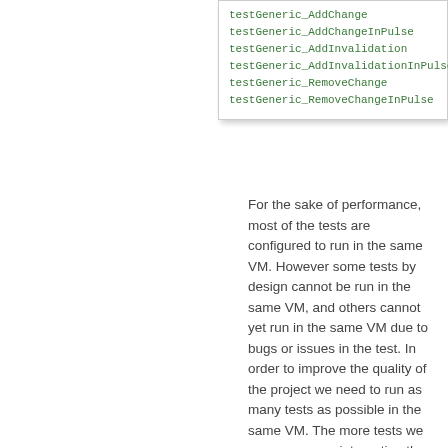[Figure (screenshot): Code listing showing green monospace test method names: testGeneric_AddChange, testGeneric_AddChangeInPulse, testGeneric_AddInvalidation, testGeneric_AddInvalidationInPulse, testGeneric_RemoveChange, testGeneric_RemoveChangeInPulse]
For the sake of performance, most of the tests are configured to run in the same VM. However some tests by design cannot be run in the same VM, and others cannot yet run in the same VM due to bugs or issues in the test. In order to improve the quality of the project we need to run as many tests as possible in the same VM. The more tests we can run on pre-integration the less likely we are to see failures leak into master. Being able to run 20,000 tests in a